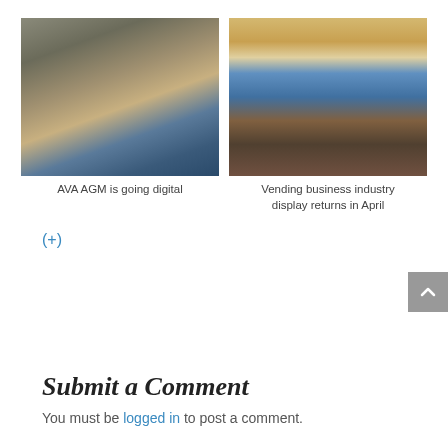[Figure (photo): Person stocking or working at a vending machine with blue storage bins]
[Figure (photo): Crowded trade show or industry event display hall with booths]
AVA AGM is going digital
Vending business industry display returns in April
(+)
Submit a Comment
You must be logged in to post a comment.